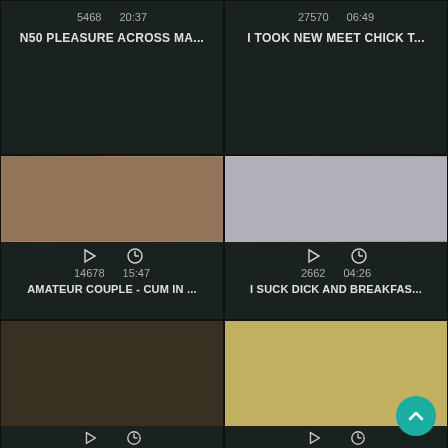5468  20:37
N50 PLEASURE ACROSS MA...
27570  06:49
I TOOK NEW MEET CHICK T...
[Figure (photo): Video thumbnail showing adult content]
14678  15:47
AMATEUR COUPLE - CUM IN ...
[Figure (photo): Video thumbnail showing adult content]
2662  04:26
I SUCK DICK AND BREAKFAS...
[Figure (photo): Video thumbnail showing adult content]
[Figure (photo): Video thumbnail showing adult content]